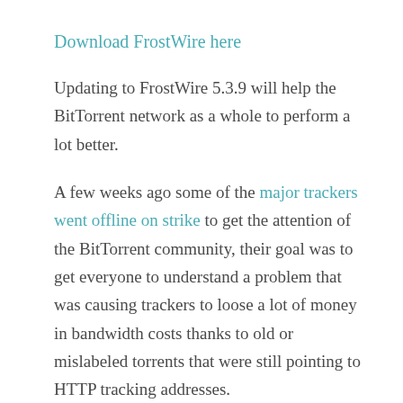Download FrostWire here
Updating to FrostWire 5.3.9 will help the BitTorrent network as a whole to perform a lot better.
A few weeks ago some of the major trackers went offline on strike to get the attention of the BitTorrent community, their goal was to get everyone to understand a problem that was causing trackers to loose a lot of money in bandwidth costs thanks to old or mislabeled torrents that were still pointing to HTTP tracking addresses.
HTTP traffic is a lot more verbose than the UDP